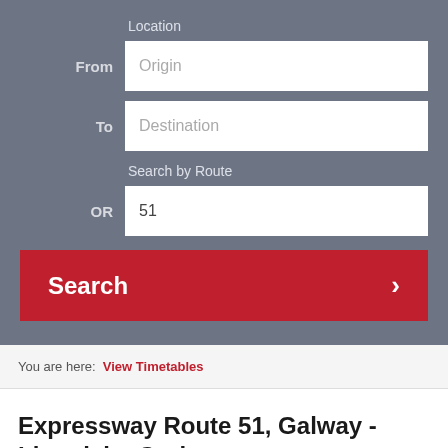Location
From
Origin
To
Destination
Search by Route
OR
51
Search
You are here: View Timetables
Expressway Route 51, Galway - Limerick - Cork